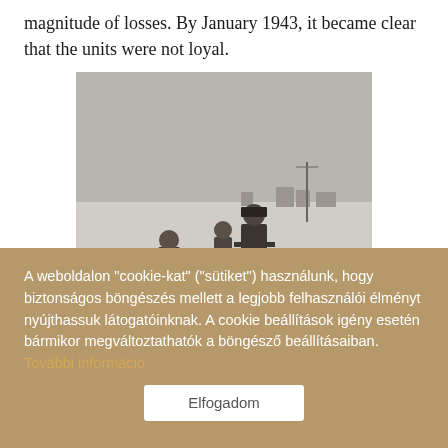magnitude of losses. By January 1943, it became clear that the units were not loyal.
[Figure (photo): Black and white historical photograph showing figures in winter scene, with snow-covered ground and buildings in background. Two or three people visible, one in military coat.]
A weboldalon "cookie-kat" ("sütiket") használunk, hogy biztonságos böngészés mellett a legjobb felhasználói élményt nyújthassuk látogatóinknak. A cookie beállítások igény esetén bármikor megváltoztathatók a böngésző beállításaiban. További információ
Elfogadom